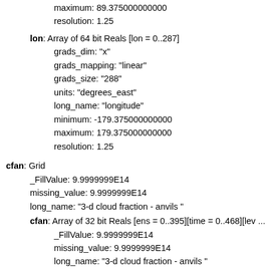maximum: 89.375000000000
resolution: 1.25
lon: Array of 64 bit Reals [lon = 0..287]
grads_dim: "x"
grads_mapping: "linear"
grads_size: "288"
units: "degrees_east"
long_name: "longitude"
minimum: -179.375000000000
maximum: 179.375000000000
resolution: 1.25
cfan: Grid
_FillValue: 9.9999999E14
missing_value: 9.9999999E14
long_name: "3-d cloud fraction - anvils "
cfan: Array of 32 bit Reals [ens = 0..395][time = 0..468][lev ...
_FillValue: 9.9999999E14
missing_value: 9.9999999E14
long_name: "3-d cloud fraction - anvils "
ens: Array of 64 bit Reals [ens = 0..395]
grads_name:
"197901,197902,197903,197904,197905,197906,19790...
grads_length: "469,469,469,469,469,469,469,469,469,...
grads_tinit: "1,1,1,1,1,1,1,1,1,1,1,1,1,1,1,1,1,1,1,1,1,1,1,1,1,...